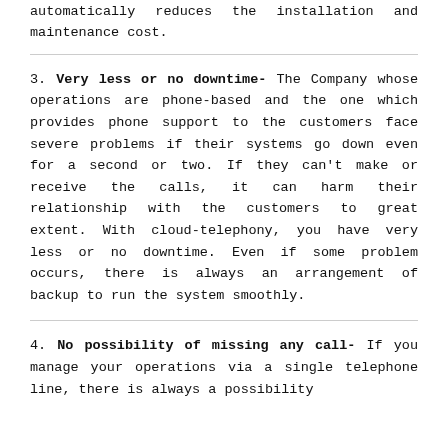...automatically reduces the installation and maintenance cost.
3. Very less or no downtime- The Company whose operations are phone-based and the one which provides phone support to the customers face severe problems if their systems go down even for a second or two. If they can't make or receive the calls, it can harm their relationship with the customers to great extent. With cloud-telephony, you have very less or no downtime. Even if some problem occurs, there is always an arrangement of backup to run the system smoothly.
4. No possibility of missing any call- If you manage your operations via a single telephone line, there is always a possibility